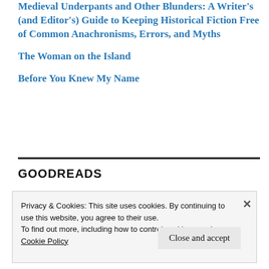Medieval Underpants and Other Blunders: A Writer's (and Editor's) Guide to Keeping Historical Fiction Free of Common Anachronisms, Errors, and Myths
The Woman on the Island
Before You Knew My Name
GOODREADS
Privacy & Cookies: This site uses cookies. By continuing to use this website, you agree to their use.
To find out more, including how to control cookies, see here:
Cookie Policy
Close and accept